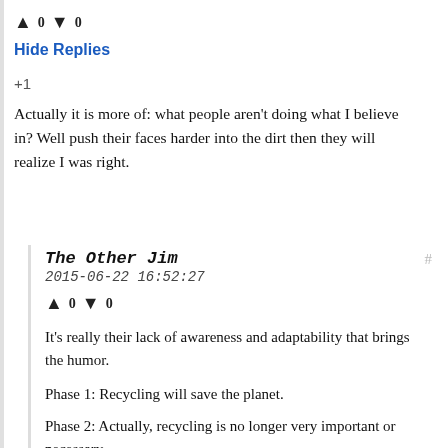↑ 0 ↓ 0
Hide Replies
+1
Actually it is more of: what people aren't doing what I believe in? Well push their faces harder into the dirt then they will realize I was right.
The Other Jim
2015-06-22 16:52:27
↑ 0 ↓ 0
It's really their lack of awareness and adaptability that brings the humor.
Phase 1: Recycling will save the planet.
Phase 2: Actually, recycling is no longer very important or necessary.